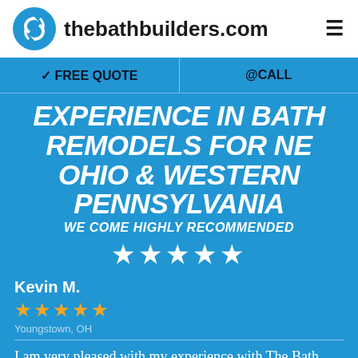thebathbuilders.com
FREE QUOTE  @CALL
EXPERIENCE IN BATH REMODELS FOR NE OHIO & WESTERN PENNSYLVANIA
WE COME HIGHLY RECOMMENDED
★★★★★
Kevin M.
★★★★★
Youngstown, OH
I am very pleased with my experience with The Bath Builders. The sales consultant was very friendly and knowledgeable. The installation was well done and very quick! We were in our new shower within about two days. I would highly recommend The Bath